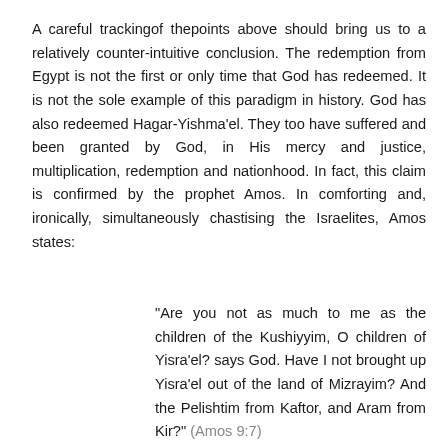A careful trackingof thepoints above should bring us to a relatively counter-intuitive conclusion. The redemption from Egypt is not the first or only time that God has redeemed. It is not the sole example of this paradigm in history. God has also redeemed Hagar-Yishma'el. They too have suffered and been granted by God, in His mercy and justice, multiplication, redemption and nationhood. In fact, this claim is confirmed by the prophet Amos. In comforting and, ironically, simultaneously chastising the Israelites, Amos states:
"Are you not as much to me as the children of the Kushiyyim, O children of Yisra'el? says God. Have I not brought up Yisra'el out of the land of Mizrayim? And the Pelishtim from Kaftor, and Aram from Kir?" (Amos 9:7)